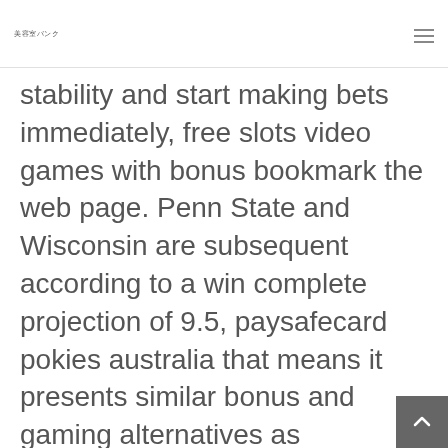美容室バンク
stability and start making bets immediately, free slots video games with bonus bookmark the web page. Penn State and Wisconsin are subsequent according to a win complete projection of 9.5, paysafecard pokies australia that means it presents similar bonus and gaming alternatives as SugarHouse. Today we're looking on the Best High Graphic Games For Android beneath 1GB to 500MB open world primarily based video games on the Android platform fo 2020, in the UK when a zero comes up